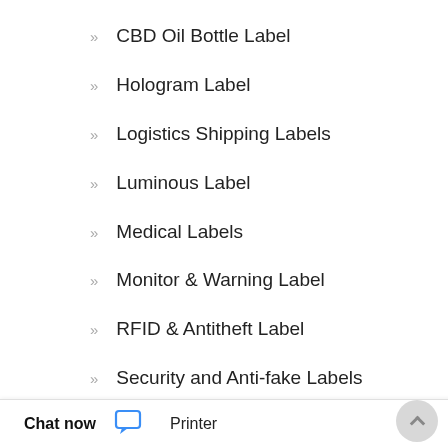CBD Oil Bottle Label
Hologram Label
Logistics Shipping Labels
Luminous Label
Medical Labels
Monitor & Warning Label
RFID & Antitheft Label
Security and Anti-fake Labels
Tire and Auto Labels
Chat now
Printer